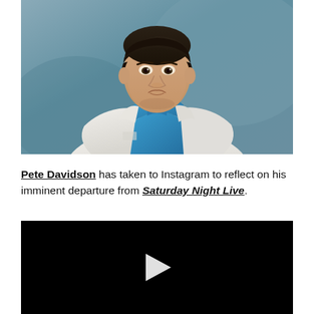[Figure (photo): Pete Davidson in a white blazer and blue shirt, leaning slightly forward against a blue-grey background]
Pete Davidson has taken to Instagram to reflect on his imminent departure from Saturday Night Live.
[Figure (screenshot): Black video player with a white play button triangle in the center]